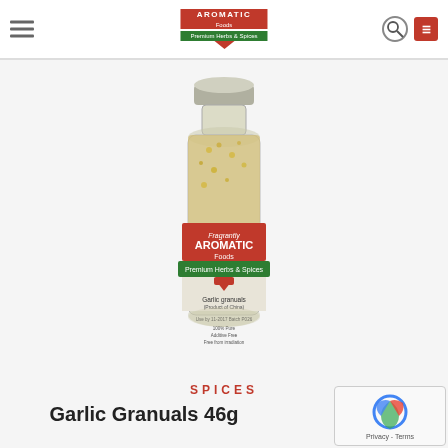Aromatic Foods - Premium Herbs & Spices
[Figure (photo): A clear plastic bottle with a silver screw cap filled with garlic granules. The label reads 'Fragrantly Aromatic Foods, Premium Herbs & Spices, Garlic granuals (Product of China), Use by 11-2017, Batch P026, 100% Pure, Additive Free, Free from irradiation']
SPICES
Garlic Granuals 46g